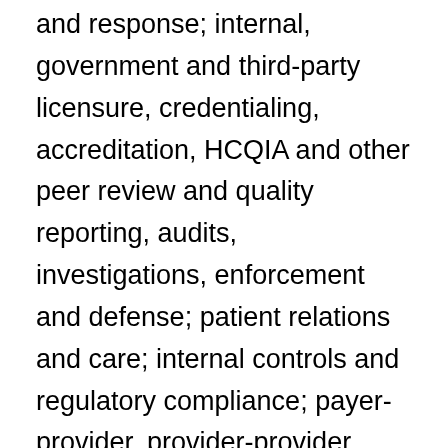and response; internal, government and third-party licensure, credentialing, accreditation, HCQIA and other peer review and quality reporting, audits, investigations, enforcement and defense; patient relations and care; internal controls and regulatory compliance; payer-provider, provider-provider, vendor, patient, governmental and community relations; facilities, practice, products and other sales, mergers, acquisitions and other business and commercial transactions; government procurement and contracting; grants; tax-exemption and not-for-profit; privacy and data security; training; risk and change management; regulatory affairs and public policy; process, product and service improvement, development and innovation, and other legal and operational compliance and risk management, government and regulatory affairs and operations concerns. to establish, administer and